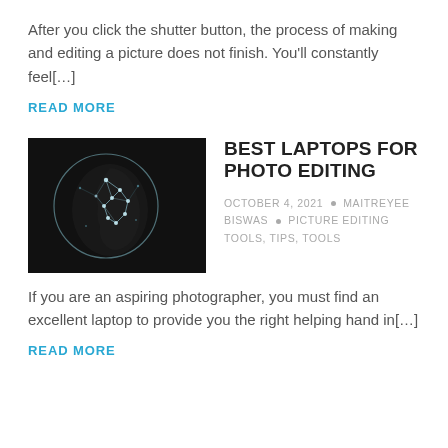After you click the shutter button, the process of making and editing a picture does not finish. You'll constantly feel[…]
READ MORE
[Figure (photo): Black and white photo of a human head profile overlaid with a glowing digital brain network against a dark background]
BEST LAPTOPS FOR PHOTO EDITING
OCTOBER 4, 2021 • MAITREYEE BISWAS • PICTURE EDITING TOOLS, TIPS, TOOLS
If you are an aspiring photographer, you must find an excellent laptop to provide you the right helping hand in[…]
READ MORE